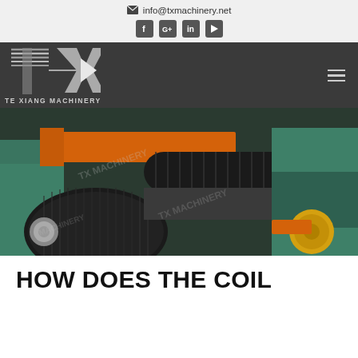info@txmachinery.net
[Figure (logo): TE XIANG MACHINERY logo with stylized TX letters in silver on dark background, hamburger menu icon on right]
[Figure (photo): Industrial slitting machine with a large black steel coil roll mounted on green machinery frame with orange supports, TE XIANG MACHINERY watermark overlay]
HOW DOES THE COIL